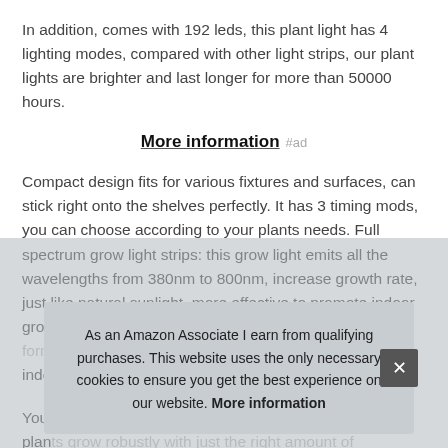In addition, comes with 192 leds, this plant light has 4 lighting modes, compared with other light strips, our plant lights are brighter and last longer for more than 50000 hours.
More information #ad
Compact design fits for various fixtures and surfaces, can stick right onto the shelves perfectly. It has 3 timing mods, you can choose according to your plants needs. Full spectrum grow light strips: this grow light emits all the wavelengths from 380nm to 800nm, increase growth rate, just like natural sunlight, more effective to promote indoor growth as it acco... indo...
You... plan... water with high quality. Tomatoes, Cucumbers, Plumeria
As an Amazon Associate I earn from qualifying purchases. This website uses the only necessary cookies to ensure you get the best experience on our website. More information